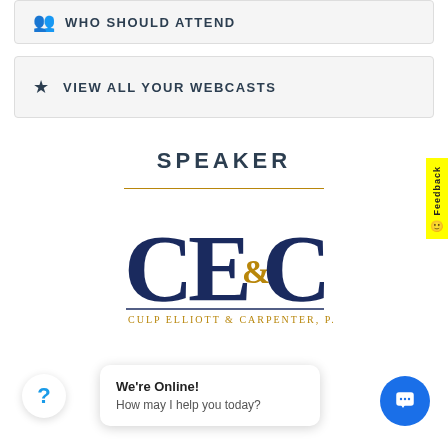WHO SHOULD ATTEND
VIEW ALL YOUR WEBCASTS
SPEAKER
[Figure (logo): CE&C Culp Elliott & Carpenter, P.L.L.C. company logo — large navy blue serif letters CE&C with gold ampersand, and full company name below in gold uppercase serif text]
We're Online! How may I help you today?